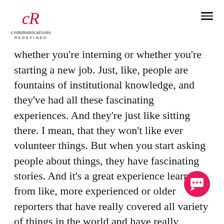communications REDEFINED
whether you're interning or whether you're starting a new job. Just, like, people are fountains of institutional knowledge, and they've had all these fascinating experiences. And they're just like sitting there. I mean, that they won't like ever volunteer things. But when you start asking people about things, they have fascinating stories. And it's a great experience learning from like, more experienced or older reporters that have really covered all variety of things in the world and have really fascinating insights about just how to do that in the best way possible.
Angela Tuell  18:46